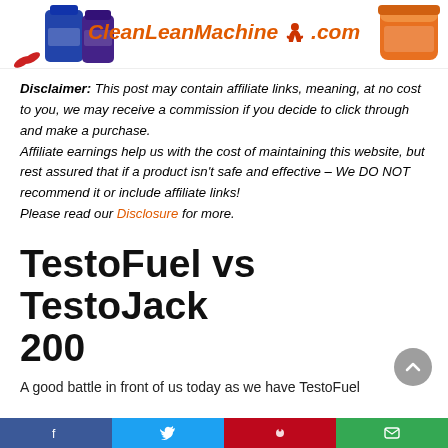[Figure (logo): CleanLeanMachine.com website header logo with supplement product images on left and right sides]
Disclaimer: This post may contain affiliate links, meaning, at no cost to you, we may receive a commission if you decide to click through and make a purchase.
Affiliate earnings help us with the cost of maintaining this website, but rest assured that if a product isn't safe and effective – We DO NOT recommend it or include affiliate links!
Please read our Disclosure for more.
TestoFuel vs TestoJack 200
A good battle in front of us today as we have TestoFuel